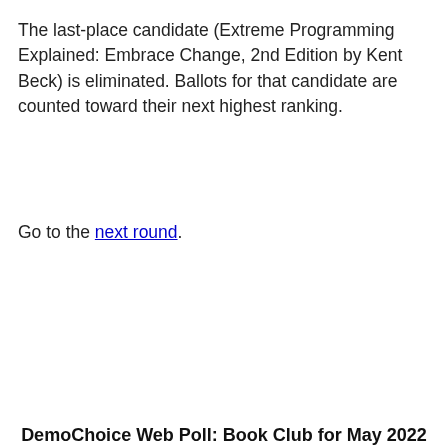The last-place candidate (Extreme Programming Explained: Embrace Change, 2nd Edition by Kent Beck) is eliminated. Ballots for that candidate are counted toward their next highest ranking.
Go to the next round.
DemoChoice Web Poll: Book Club for May 2022